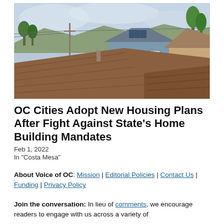[Figure (photo): Aerial/elevated view of suburban California residential homes showing rooftops with brown shingles, a light blue house with solar panels, utility poles, and trees in the background under a cloudy sky.]
OC Cities Adopt New Housing Plans After Fight Against State's Home Building Mandates
Feb 1, 2022
In "Costa Mesa"
About Voice of OC: Mission | Editorial Policies | Contact Us | Funding | Privacy Policy
Join the conversation: In lieu of comments, we encourage readers to engage with us across a variety of